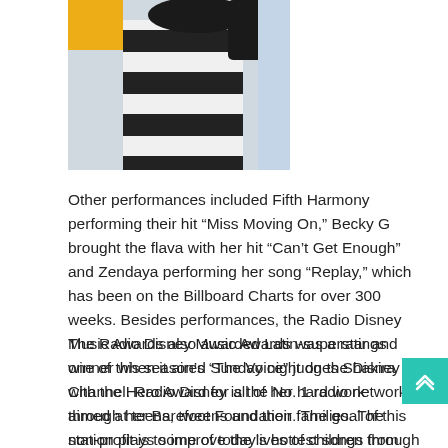[Figure (photo): Person wearing a black and white striped outfit, cropped photo showing torso and partial head with dark hair]
Other performances included Fifth Harmony performing their hit “Miss Moving On,” Becky G brought the flava with her hit “Can’t Get Enough” and Zendaya performing her song “Replay,” which has been on the Billboard Charts for over 300 weeks. Besides performances, the Radio Disney Music Awards also awarded Latin-superstar and one of this season’s “The Voice” judges Shakira with the Hero Award for all of her hard work through her Barefoot Foundation. The goal of this non-profit is to improve the lives of children through education.
The Radio Disney Music Awards was a ratings winner when it aired Sunday night on the Disney Channel. Radio Disney is the No. 1 radio network aimed at teens, tweens and their families. The station plays some of today’s hottest songs from young stars including Selena Gomez, Taylor Swift and Justin Bieber.